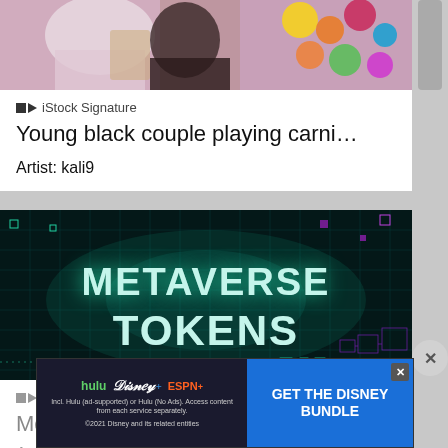[Figure (photo): Top portion of photo showing young black couple at carnival game, colorful stuffed animals in background]
iStock Signature
Young black couple playing carni…
Artist: kali9
[Figure (photo): Digital circuit board background with large glowing 3D text reading METAVERSE TOKENS in teal/cyan color]
iStock Essentials
Me…
Arti…
[Figure (screenshot): Disney Bundle advertisement showing Hulu, Disney+, ESPN+ logos with GET THE DISNEY BUNDLE call to action and fine print about access]